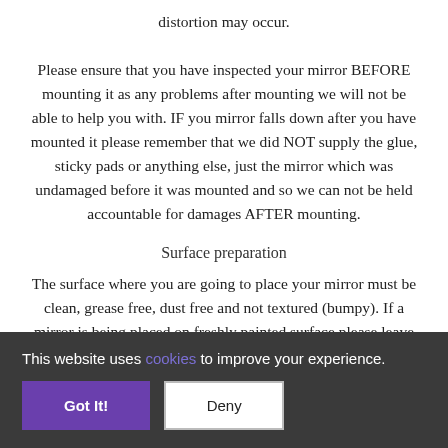distortion may occur.

Please ensure that you have inspected your mirror BEFORE mounting it as any problems after mounting we will not be able to help you with. IF you mirror falls down after you have mounted it please remember that we did NOT supply the glue, sticky pads or anything else, just the mirror which was undamaged before it was mounted and so we can not be held accountable for damages AFTER mounting.
Surface preparation
The surface where you are going to place your mirror must be clean, grease free, dust free and not textured (bumpy). If a mirror is being placed on freshly painted surface please leave let the paint dry
This website uses cookies to improve your experience.